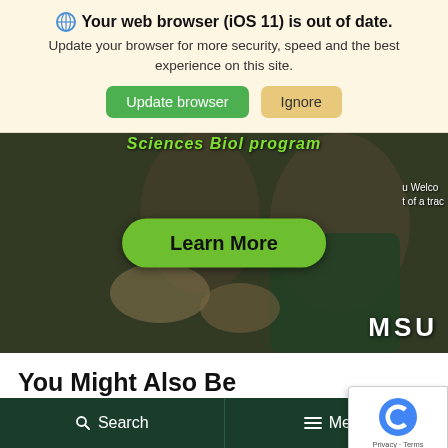Your web browser (iOS 11) is out of date. Update your browser for more security, speed and the best experience on this site.
Update browser
Ignore
[Figure (photo): Photo of two students, one wearing an MSU shirt, with a green Learn More button overlay and partial header text reading 'Sciences Biol program']
You Might Also Be Interested In
Search   Menu